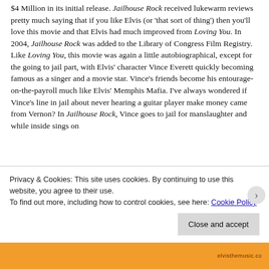$4 Million in its initial release. Jailhouse Rock received lukewarm reviews pretty much saying that if you like Elvis (or 'that sort of thing') then you'll love this movie and that Elvis had much improved from Loving You. In 2004, Jailhouse Rock was added to the Library of Congress Film Registry. Like Loving You, this movie was again a little autobiographical, except for the going to jail part, with Elvis' character Vince Everett quickly becoming famous as a singer and a movie star. Vince's friends become his entourage-on-the-payroll much like Elvis' Memphis Mafia. I've always wondered if Vince's line in jail about never hearing a guitar player make money came from Vernon? In Jailhouse Rock, Vince goes to jail for manslaughter and while inside sings on
Privacy & Cookies: This site uses cookies. By continuing to use this website, you agree to their use.
To find out more, including how to control cookies, see here: Cookie Policy
Close and accept